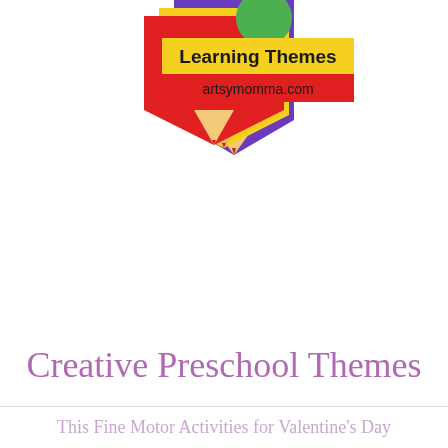[Figure (logo): Logo with colorful pencils (purple, yellow, red) and text 'Learning Themes' on yellow band and 'artsymomma.com' on red band]
Creative Preschool Themes
This Fine Motor Activities for Valentine's Day